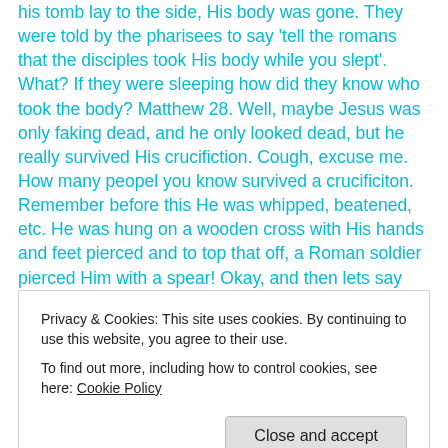his tomb lay to the side, His body was gone. They were told by the pharisees to say 'tell the romans that the disciples took His body while you slept'. What? If they were sleeping how did they know who took the body? Matthew 28. Well, maybe Jesus was only faking dead, and he only looked dead, but he really survived His crucifiction. Cough, excuse me. How many peopel you know survived a crucificiton. Remember before this He was whipped, beatened, etc. He was hung on a wooden cross with His hands and feet pierced and to top that off, a Roman soldier pierced Him with a spear! Okay, and then lets say
Privacy & Cookies: This site uses cookies. By continuing to use this website, you agree to their use.
To find out more, including how to control cookies, see here: Cookie Policy
Close and accept